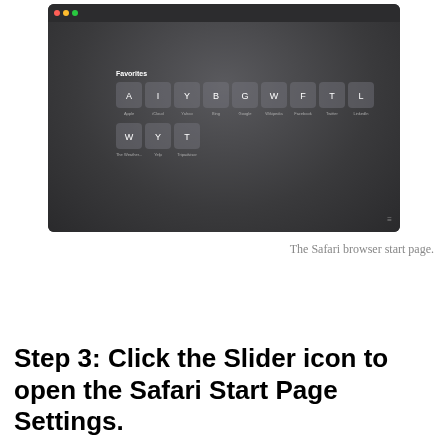[Figure (screenshot): Screenshot of the Safari browser start page showing the Favorites section with letter tiles: A (Apple), I (iCloud), Y (Yahoo), B (Bing), G (Google), W (Wikipedia), F (Facebook), T (Twitter), L (LinkedIn) in the first row, and W (The Weather...), Y (Yelp), T (TripAdvisor) in the second row. The browser has a dark theme with a radial gradient background.]
The Safari browser start page.
Step 3: Click the Slider icon to open the Safari Start Page Settings.